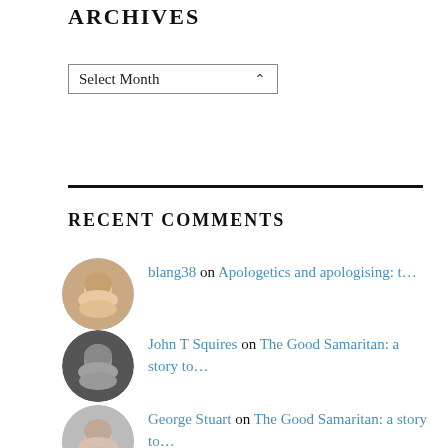ARCHIVES
Select Month (dropdown)
RECENT COMMENTS
blang38 on Apologetics and apologising: t…
John T Squires on The Good Samaritan: a story to…
George Stuart on The Good Samaritan: a story to…